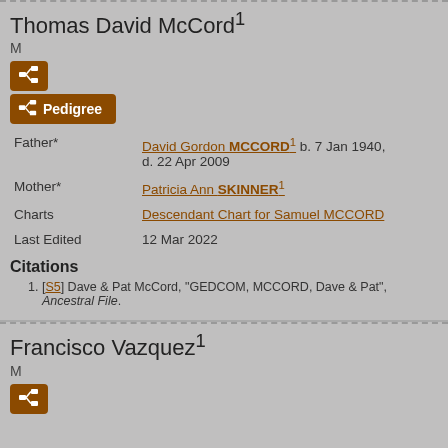Thomas David McCord¹
M
Father* David Gordon MCCORD¹ b. 7 Jan 1940, d. 22 Apr 2009
Mother* Patricia Ann SKINNER¹
Charts Descendant Chart for Samuel MCCORD
Last Edited 12 Mar 2022
Citations
1. [S5] Dave & Pat McCord, "GEDCOM, MCCORD, Dave & Pat", Ancestral File.
Francisco Vazquez¹
M